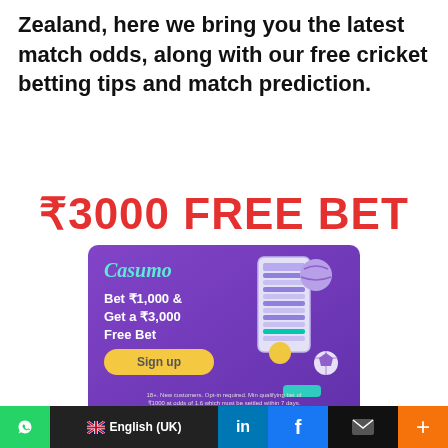Zealand, here we bring you the latest match odds, along with our free cricket betting tips and match prediction.
₹3000 FREE BET
[Figure (infographic): Casumo casino advertisement banner with purple background showing 'Bet ₹1,000 & Get a ₹3,000 Free Bet' with Sign up button, phone mockup, sports balls (cricket, football, yellow ball), fine print about terms and conditions. 18+. New customers. Opt-in required. Min qualifying bet of ₹1000 at odds of 1.6 which must be settled within 7 days. Casumo Services Ltd licensed by the MGA, MGA/CRP/217/2012. T&Cs apply. Play responsibly - rgf.org.mt • Bonus terms]
English (UK)   in   f   ✉   +